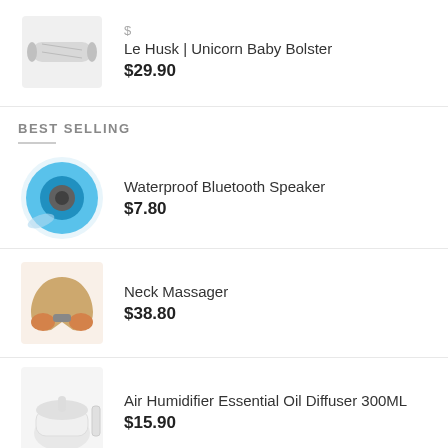Le Husk | Unicorn Baby Bolster — $29.90
BEST SELLING
Waterproof Bluetooth Speaker — $7.80
Neck Massager — $38.80
Air Humidifier Essential Oil Diffuser 300ML — $15.90
Aesop Resurrection Hand Wash 500ml